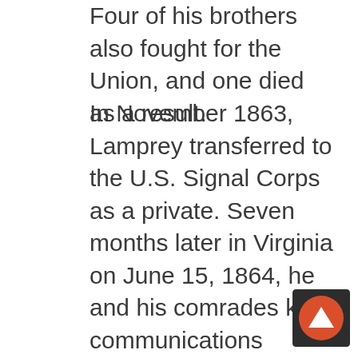Four of his brothers also fought for the Union, and one died as a result.
In November 1863, Lamprey transferred to the U.S. Signal Corps as a private. Seven months later in Virginia on June 15, 1864, he and his comrades kept communications flowing from the signal tower on Cobb’s Hill, which had a commanding view of Petersburg. On that day, Maj. Gen. Benjamin Butler ordered an attack on the city before Gen. Robert E. Lee could send reinforcements. One of Butler’s subordinates, Maj. Gen. William Farrar “Baldy” Smith, succeeded in taking a portion of the enemy’s first line of defenses, but reportedly failed to push the attack. The resulting delay allowed time for Lee’s troops entered Petersburg and hold on for nine months